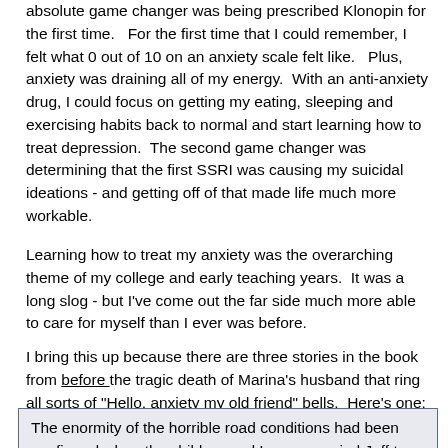absolute game changer was being prescribed Klonopin for the first time.   For the first time that I could remember, I felt what 0 out of 10 on an anxiety scale felt like.   Plus, anxiety was draining all of my energy.  With an anti-anxiety drug, I could focus on getting my eating, sleeping and exercising habits back to normal and start learning how to treat depression.  The second game changer was determining that the first SSRI was causing my suicidal ideations - and getting off of that made life much more workable.
Learning how to treat my anxiety was the overarching theme of my college and early teaching years.  It was a long slog - but I've come out the far side much more able to care for myself than I ever was before.
I bring this up because there are three stories in the book from before the tragic death of Marina's husband that ring all sorts of "Hello, anxiety my old friend" bells.  Here's one:
The enormity of the horrible road conditions had been confirmed when the children and I accompanied Jeff to retrieve mail from our post office box.  Moments of sheer